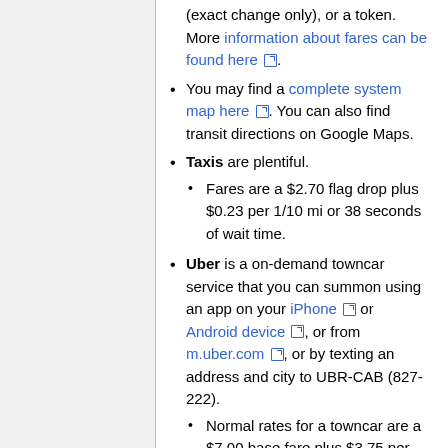(exact change only), or a token. More information about fares can be found here.
You may find a complete system map here. You can also find transit directions on Google Maps.
Taxis are plentiful.
Fares are a $2.70 flag drop plus $0.23 per 1/10 mi or 38 seconds of wait time.
Uber is a on-demand towncar service that you can summon using an app on your iPhone or Android device, or from m.uber.com, or by texting an address and city to UBR-CAB (827-222).
Normal rates for a towncar are a $7.00 base fare plus $3.75 per